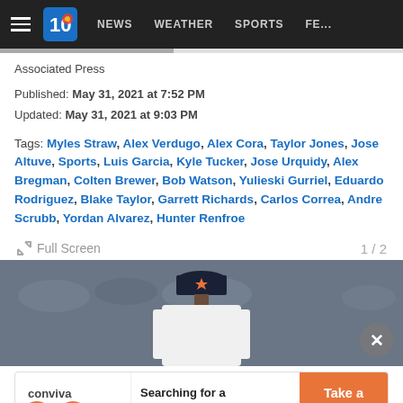NEWS  WEATHER  SPORTS  FE...
Associated Press
Published: May 31, 2021 at 7:52 PM
Updated: May 31, 2021 at 9:03 PM
Tags: Myles Straw, Alex Verdugo, Alex Cora, Taylor Jones, Jose Altuve, Sports, Luis Garcia, Kyle Tucker, Jose Urquidy, Alex Bregman, Colten Brewer, Bob Watson, Yulieski Gurriel, Eduardo Rodriguez, Blake Taylor, Garrett Richards, Carlos Correa, Andre Scrubb, Yordan Alvarez, Hunter Renfroe
Full Screen  1 / 2
[Figure (photo): Baseball player with Houston Astros cap (navy blue with orange star) seen from behind, crowd blurred in background]
[Figure (infographic): Advertisement banner: Conviva Care Center — Searching for a doctor who listens? Take a Tour]